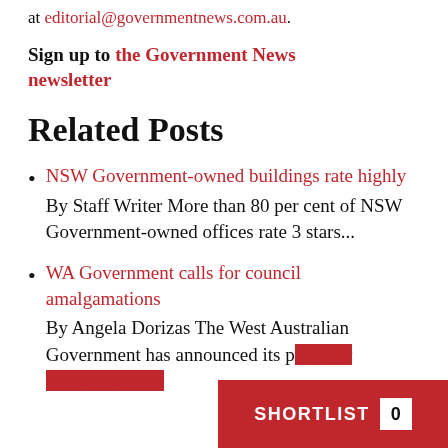at editorial@governmentnews.com.au.
Sign up to the Government News newsletter
Related Posts
NSW Government-owned buildings rate highly
By Staff Writer More than 80 per cent of NSW Government-owned offices rate 3 stars...
WA Government calls for council amalgamations
By Angela Dorizas The West Australian Government has announced its p... councils and de...